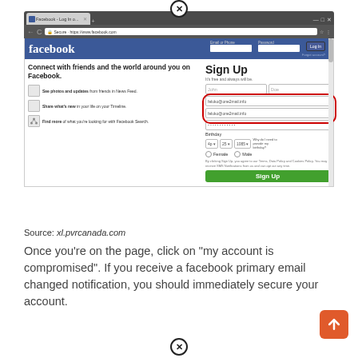[Figure (screenshot): Screenshot of Facebook Sign Up page in a browser window, showing email fields highlighted with a red oval. Fields contain 'feluko@one2mail.info'. Browser address bar shows https://www.facebook.com.]
Source: xl.pvrcanada.com
Once you’re on the page, click on “my account is compromised”. If you receive a facebook primary email changed notification, you should immediately secure your account.